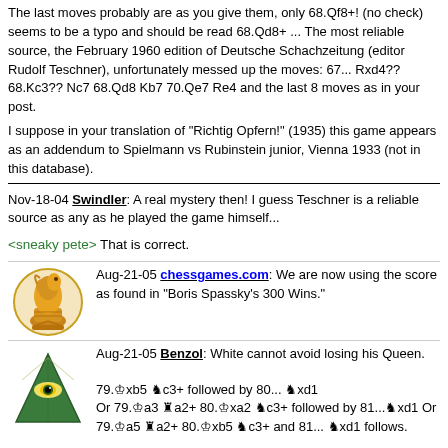The last moves probably are as you give them, only 68.Qf8+! (no check) seems to be a typo and should be read 68.Qd8+ ... The most reliable source, the February 1960 edition of Deutsche Schachzeitung (editor Rudolf Teschner), unfortunately messed up the moves: 67... Rxd4?? 68.Kc3?? Nc7 68.Qd8 Kb7 70.Qe7 Re4 and the last 8 moves as in your post.
I suppose in your translation of "Richtig Opfern!" (1935) this game appears as an addendum to Spielmann vs Rubinstein junior, Vienna 1933 (not in this database).
Nov-18-04 Swindler: A real mystery then! I guess Teschner is a reliable source as any as he played the game himself...
<sneaky pete> That is correct.
Aug-21-05 chessgames.com: We are now using the score as found in "Boris Spassky's 300 Wins."
Aug-21-05 Benzol: White cannot avoid losing his Queen. 79.Kxb5 Nc3+ followed by 80... Nxd1 Or 79.Ka3 Ra2+ 80.Kxa2 Nc3+ followed by 81... Nxd1 Or 79.Ka5 Ra2+ 80.Kxb5 Nc3+ and 81... Nxd1 follows. A nice finish by Spassky.
Aug-26-05 Calli: <Benzol> <Chessgames> Thanks for the correction! The game's connection with Marshall vs Burn, 1900 is a small piece of chess history.
Mar-12-06 Monoceros: Amazing game from Spassky. By the 17th move of the game Black's position looks like an unmitigated disaster but Spassky defends coolly and before long White is reduced to checking the Black King aimlessly around (looking for a perpetual maybe?) And I never would have